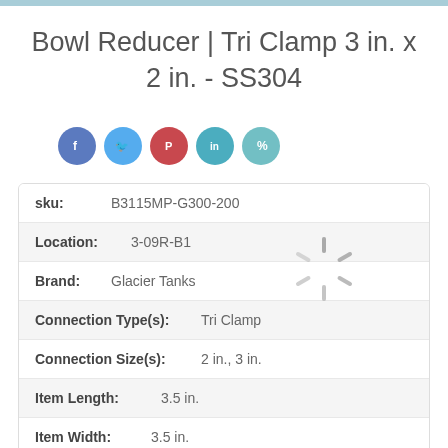Bowl Reducer | Tri Clamp 3 in. x 2 in. - SS304
| sku: | B3115MP-G300-200 |
| Location: | 3-09R-B1 |
| Brand: | Glacier Tanks |
| Connection Type(s): | Tri Clamp |
| Connection Size(s): | 2 in., 3 in. |
| Item Length: | 3.5 in. |
| Item Width: | 3.5 in. |
| Item Height: | 3.5 in. |